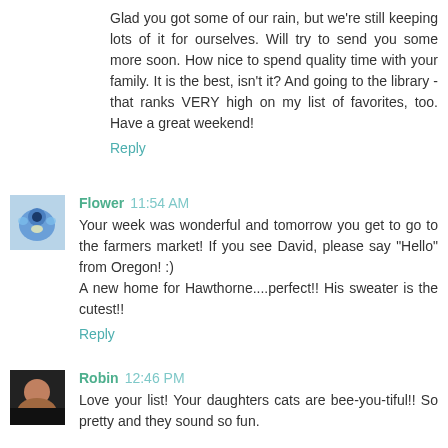Glad you got some of our rain, but we're still keeping lots of it for ourselves. Will try to send you some more soon. How nice to spend quality time with your family. It is the best, isn't it? And going to the library - that ranks VERY high on my list of favorites, too. Have a great weekend!
Reply
Flower 11:54 AM
Your week was wonderful and tomorrow you get to go to the farmers market! If you see David, please say "Hello" from Oregon! :)
A new home for Hawthorne....perfect!! His sweater is the cutest!!
Reply
Robin 12:46 PM
Love your list! Your daughters cats are bee-you-tiful!! So pretty and they sound so fun.